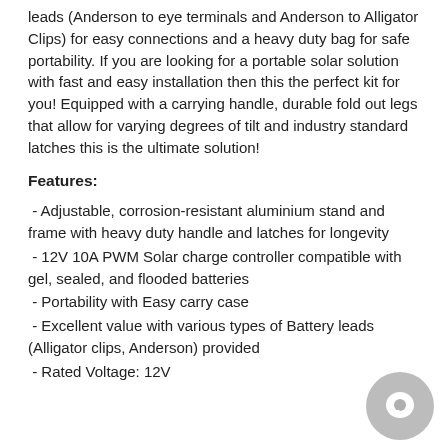leads (Anderson to eye terminals and Anderson to Alligator Clips) for easy connections and a heavy duty bag for safe portability. If you are looking for a portable solar solution with fast and easy installation then this the perfect kit for you! Equipped with a carrying handle, durable fold out legs that allow for varying degrees of tilt and industry standard latches this is the ultimate solution!
Features:
- Adjustable, corrosion-resistant aluminium stand and frame with heavy duty handle and latches for longevity
- 12V 10A PWM Solar charge controller compatible with gel, sealed, and flooded batteries
- Portability with Easy carry case
- Excellent value with various types of Battery leads (Alligator clips, Anderson) provided
- Rated Voltage: 12V